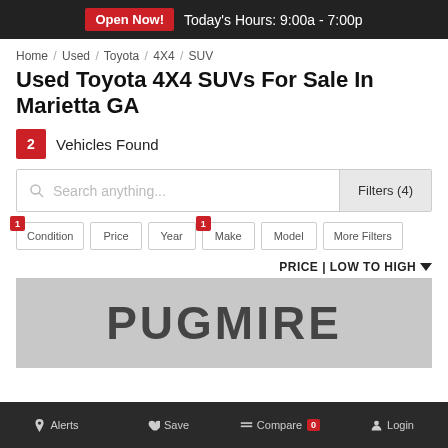Open Now!  Today's Hours: 9:00a - 7:00p
Home / Used / Toyota / 4X4 / SUV
Used Toyota 4X4 SUVs For Sale In Marietta GA
2  Vehicles Found
Search anything...   Filters (4)
Condition  Price  Year  Make  Model  More Filters
PRICE | LOW TO HIGH
[Figure (photo): Dealership exterior with PUGMIRE sign on building facade]
Alerts  Save  Compare 0  Login